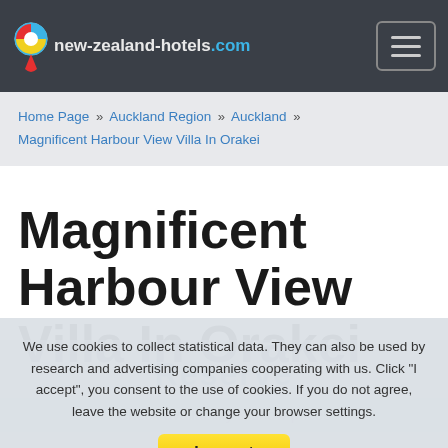new-zealand-hotels.com
Home Page » Auckland Region » Auckland » Magnificent Harbour View Villa In Orakei
Magnificent Harbour View Villa In Orakei
We use cookies to collect statistical data. They can also be used by research and advertising companies cooperating with us. Click "I accept", you consent to the use of cookies. If you do not agree, leave the website or change your browser settings.
I accept